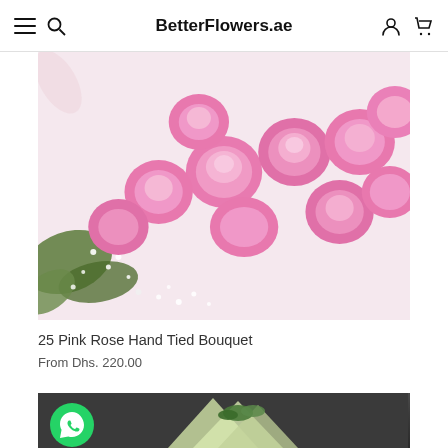BetterFlowers.ae
[Figure (photo): Close-up photo of a bouquet of 25 pink roses with baby's breath on a white/cream background]
25 Pink Rose Hand Tied Bouquet
From Dhs. 220.00
[Figure (photo): Partial view of a flower bouquet wrapped in light green paper on a dark grey background, with a WhatsApp green circle button in the lower left]